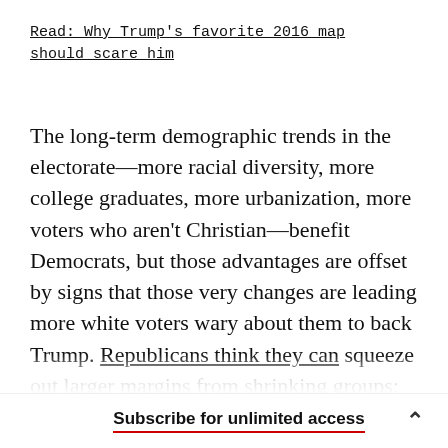Read: Why Trump's favorite 2016 map should scare him
The long-term demographic trends in the electorate—more racial diversity, more college graduates, more urbanization, more voters who aren't Christian—benefit Democrats, but those advantages are offset by signs that those very changes are leading more white voters wary about them to back Trump. Republicans think they can squeeze out larger margins from shrinking groups; as a long-term strategy, that's a dicey proposition
Subscribe for unlimited access